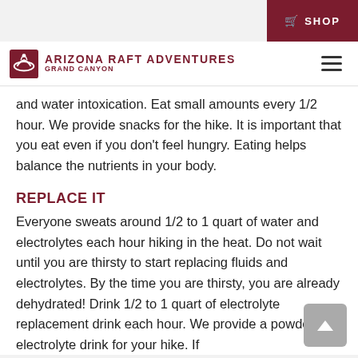SHOP
[Figure (logo): Arizona Raft Adventures Grand Canyon logo with raft icon]
and water intoxication. Eat small amounts every 1/2 hour. We provide snacks for the hike. It is important that you eat even if you don't feel hungry. Eating helps balance the nutrients in your body.
REPLACE IT
Everyone sweats around 1/2 to 1 quart of water and electrolytes each hour hiking in the heat. Do not wait until you are thirsty to start replacing fluids and electrolytes. By the time you are thirsty, you are already dehydrated! Drink 1/2 to 1 quart of electrolyte replacement drink each hour. We provide a powdered electrolyte drink for your hike. If